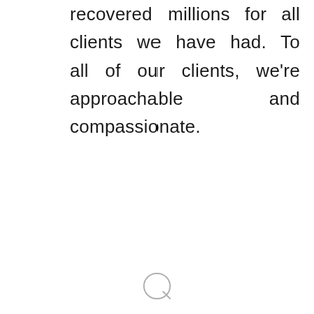recovered millions for all clients we have had. To all of our clients, we're approachable and compassionate.
[Figure (other): Small circular icon or logo watermark at the bottom center of the page]